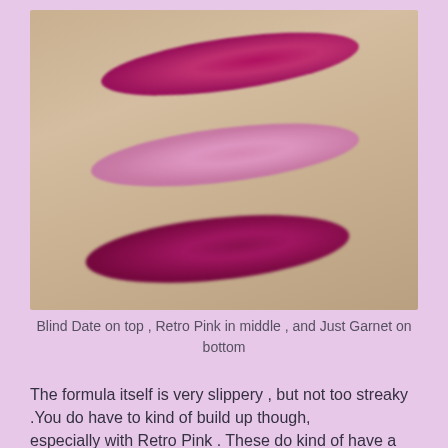[Figure (photo): Photo of three lipstick swatches on skin/arm: top swatch is Blind Date (deep magenta-pink), middle swatch is Retro Pink (light sheer pink-lavender), bottom swatch is Just Garnet (deep berry-plum). Swatches are applied diagonally across the inner arm.]
Blind Date on top , Retro Pink in middle , and Just Garnet on bottom
The formula itself is very slippery , but not too streaky .You do have to kind of build up though, especially with Retro Pink . These do kind of have a